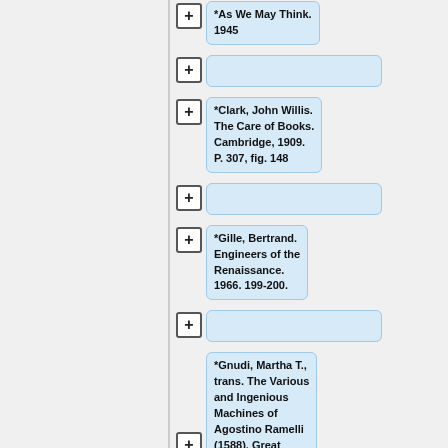[Figure (organizational-chart): A hierarchical tree/flowchart showing bibliography nodes. Visible nodes include: 'As We May Think. 1945', an empty node, '*Clark, John Willis. The Care of Books. Cambridge, 1909. P. 307, fig. 148', an empty node, '*Gille, Bertrand. Engineers of the Renaissance. 1966. 199-200.', an empty node, and '*Gnudi, Martha T., trans. The Various and Ingenious Machines of Agostino Ramelli (1588). Great Britain: Johns Hopkins' (truncated). Each node has a '+' expand button to its left. Left panel is gray, right panel shows the nodes.]